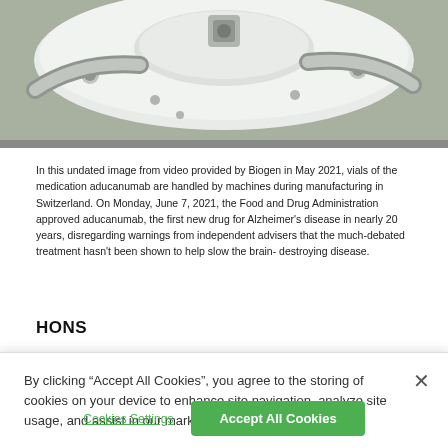[Figure (photo): Close-up photo of manufacturing machinery with metallic/white components, bolts and curved parts visible — Biogen pharmaceutical manufacturing equipment in Switzerland.]
In this undated image from video provided by Biogen in May 2021, vials of the medication aducanumab are handled by machines during manufacturing in Switzerland. On Monday, June 7, 2021, the Food and Drug Administration approved aducanumab, the first new drug for Alzheimer's disease in nearly 20 years, disregarding warnings from independent advisers that the much-debated treatment hasn't been shown to help slow the brain-destroying disease.
HONS
By clicking “Accept All Cookies”, you agree to the storing of cookies on your device to enhance site navigation, analyze site usage, and assist in our marketing efforts.